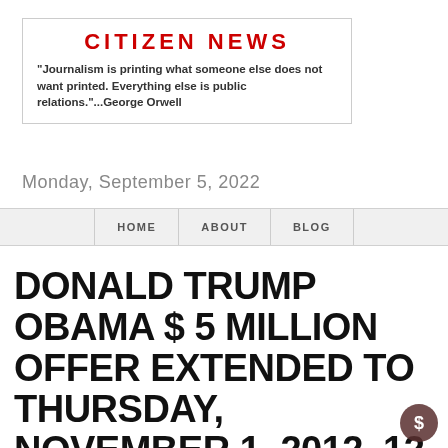CITIZEN NEWS
"Journalism is printing what someone else does not want printed. Everything else is public relations."...George Orwell
Monday, September 5, 2022
HOME   ABOUT   BLOG
DONALD TRUMP OBAMA $ 5 MILLION OFFER EXTENDED TO THURSDAY, NOVEMBER 1, 2012, 12 NOON, HURRICANE SANDY, OBAMA LIED ABOUT LIBYA, OBAMA COLLEGE AND PASSPORT